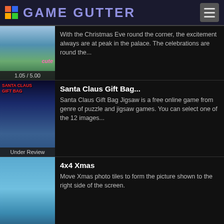GAME GUTTER
With the Christmas Eve round the corner, the excitement always are at peak in the palace. The celebrations are round the...
1.05 / 5.00
Santa Claus Gift Bag...
Santa Claus Gift Bag Jigsaw is a free online game from genre of puzzle and jigsaw games. You can select one of the 12 images...
Under Review
4x4 Xmas
Move Xmas photo tiles to form the picture shown to the right side of the screen.
Under Review
Santa Giving Presents...
Santa Giving Presents Jigsaw is a free online game from